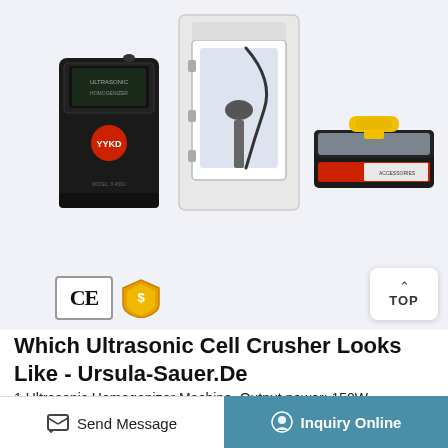[Figure (photo): Product photo showing an ultrasonic cell crusher black unit, a white cabinet ultrasonic device, a black toolbox with yellow handle, CE certification badge, and a gold shield badge on a light blue-grey background.]
Which Ultrasonic Cell Crusher Looks Like - Ursula-Sauer.De
1 Ultrasonic Homogenizer Machine. Output power: 150W (0%-100% continuous adjustable). ... Cell Ultrasonic Crusher 150ml 300ml 500ml 1000ml 1200ml Test Biochemistry Instrument Ultrasonic Cell...
Send Message | Inquiry Online